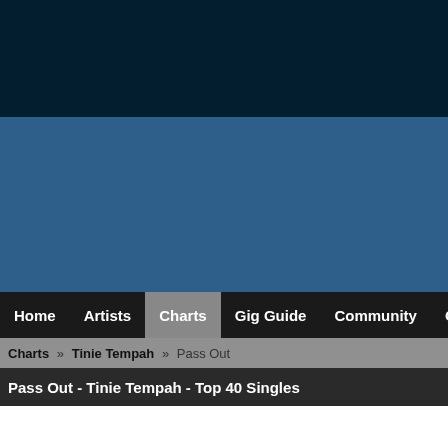[Figure (other): Dark navy header banner area]
[Figure (other): Blue mid-section banner area]
Home | Artists | Charts | Gig Guide | Community | Get Music | Galle
Charts » Tinie Tempah » Pass Out
Pass Out - Tinie Tempah - Top 40 Singles